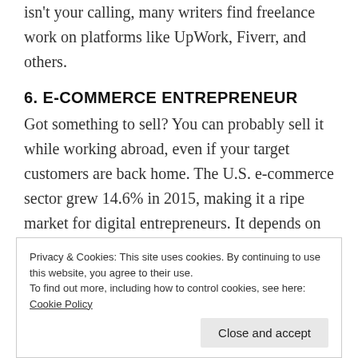isn't your calling, many writers find freelance work on platforms like UpWork, Fiverr, and others.
6. E-COMMERCE ENTREPRENEUR
Got something to sell? You can probably sell it while working abroad, even if your target customers are back home. The U.S. e-commerce sector grew 14.6% in 2015, making it a ripe market for digital entrepreneurs. It depends on what you're selling, of course, but all you may really need is a Wi-Fi connection and a distribution partner for fulfillment. (Even if
Privacy & Cookies: This site uses cookies. By continuing to use this website, you agree to their use.
To find out more, including how to control cookies, see here: Cookie Policy